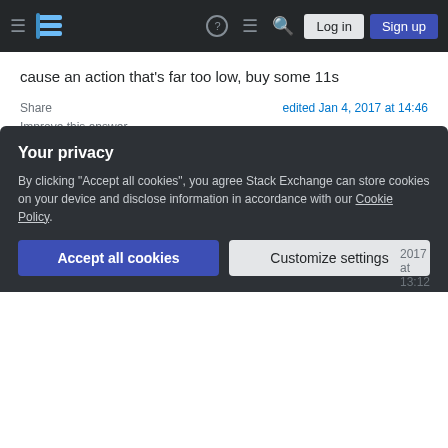Stack Exchange navigation bar with Log in and Sign up buttons
cause an action that's far too low, buy some 11s
Share | edited Jan 4, 2017 at 14:46 | Improve this answer | Follow
answered Jan 4, 2017 at 9:49
Some_Guy
4,945 ✧ 13 🎵 33
yes i am sure it was a fake "fender" string set that says light gauge in the front but upon discovering it says
Your privacy
By clicking "Accept all cookies", you agree Stack Exchange can store cookies on your device and disclose information in accordance with our Cookie Policy.
Accept all cookies | Customize settings
2017 at 13:12